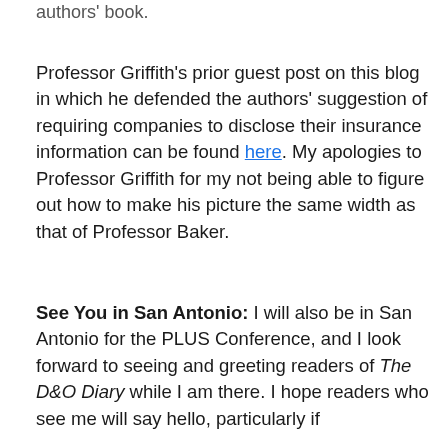authors' book.
Professor Griffith's prior guest post on this blog in which he defended the authors' suggestion of requiring companies to disclose their insurance information can be found here. My apologies to Professor Griffith for my not being able to figure out how to make his picture the same width as that of Professor Baker.
See You in San Antonio: I will also be in San Antonio for the PLUS Conference, and I look forward to seeing and greeting readers of The D&O Diary while I am there. I hope readers who see me will say hello, particularly if